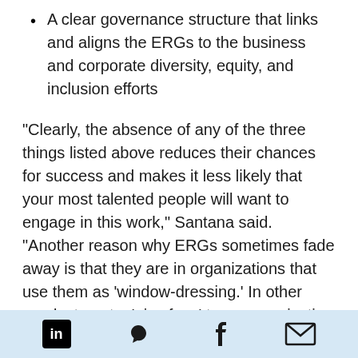A clear governance structure that links and aligns the ERGs to the business and corporate diversity, equity, and inclusion efforts
“Clearly, the absence of any of the three things listed above reduces their chances for success and makes it less likely that your most talented people will want to engage in this work,” Santana said. “Another reason why ERGs sometimes fade away is that they are in organizations that use them as ‘window-dressing.’ In other words, to put a ‘nice face’ to an organization that is not truly diverse or equitable, or inclusive. In both of these cases, it’s a failure of corporate leadership that
LinkedIn Twitter Facebook Email